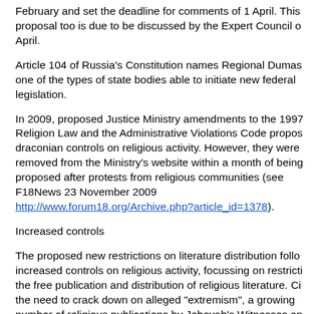February and set the deadline for comments of 1 April. This proposal too is due to be discussed by the Expert Council on April.
Article 104 of Russia's Constitution names Regional Dumas as one of the types of state bodies able to initiate new federal legislation.
In 2009, proposed Justice Ministry amendments to the 1997 Religion Law and the Administrative Violations Code proposed draconian controls on religious activity. However, they were removed from the Ministry's website within a month of being proposed after protests from religious communities (see F18News 23 November 2009 http://www.forum18.org/Archive.php?article_id=1378).
Increased controls
The proposed new restrictions on literature distribution follow increased controls on religious activity, focussing on restricting the free publication and distribution of religious literature. Citing the need to crack down on alleged "extremism", a growing number of religious publications by Jehovah's Witnesses and